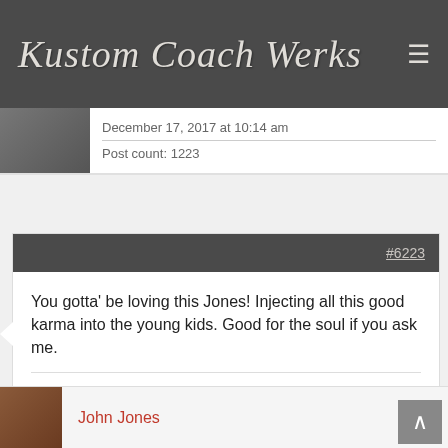Kustom Coach Werks
December 17, 2017 at 10:14 am
Post count: 1223
#6223
You gotta' be loving this Jones! Injecting all this good karma into the young kids. Good for the soul if you ask me.
I'm at the age where "fuck off", "fuck you", and "fuck it" answer most questions.
John Jones